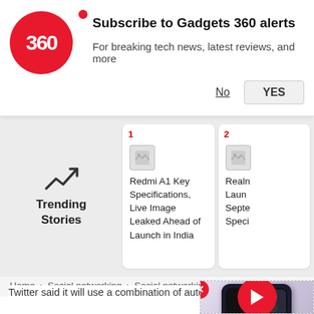[Figure (screenshot): Gadgets 360 logo — red circle with '360' text and red dot]
Subscribe to Gadgets 360 alerts
For breaking tech news, latest reviews, and more
No   YES
[Figure (infographic): Trending Stories section with trending arrow icon]
1 — Redmi A1 Key Specifications, Live Image Leaked Ahead of Launch in India
2 — Realme Launch September Speci...
Home > Social networking > Social networking News
Twitter Tightens Ban on Political Ads and Cau... of 2020 US Election
Twitter said it will use a combination of automated